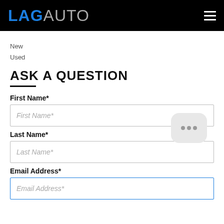LAGAUTO
New
Used
ASK A QUESTION
First Name*
First Name*
Last Name*
Last Name*
Email Address*
Email Address*